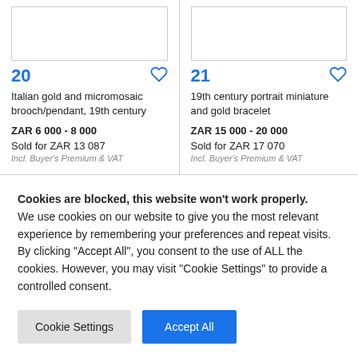[Figure (photo): Image placeholder for lot 20 - Italian gold and micromosaic brooch/pendant]
[Figure (photo): Image placeholder for lot 21 - 19th century portrait miniature and gold bracelet]
20
21
Italian gold and micromosaic brooch/pendant, 19th century
19th century portrait miniature and gold bracelet
ZAR 6 000 - 8 000
ZAR 15 000 - 20 000
Sold for ZAR 13 087
Sold for ZAR 17 070
Incl. Buyer's Premium & VAT
Incl. Buyer's Premium & VAT
Cookies are blocked, this website won't work properly. We use cookies on our website to give you the most relevant experience by remembering your preferences and repeat visits. By clicking "Accept All", you consent to the use of ALL the cookies. However, you may visit "Cookie Settings" to provide a controlled consent.